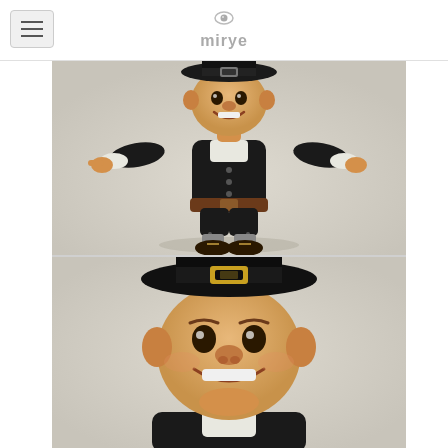mirye logo and navigation menu
[Figure (illustration): 3D cartoon character in Pilgrim costume with black hat, black suit with white collar, brown belt, black knee breeches, and dark shoes. Character is posed in T-pose with arms outstretched. Full body view on light grey background.]
[Figure (illustration): 3D cartoon character in Pilgrim costume, close-up view of upper body and face. Character has a large round head with exaggerated smile, wearing a black Pilgrim hat with gold buckle. Partial upper body visible showing black coat with white collar.]